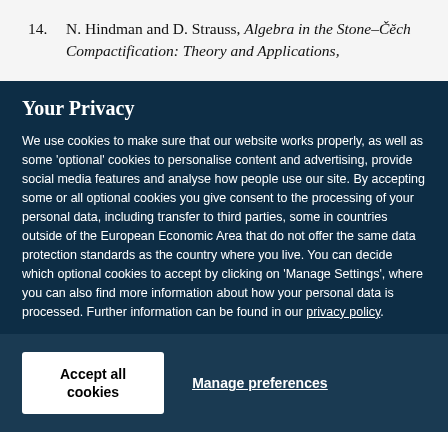14. N. Hindman and D. Strauss, Algebra in the Stone–Čěch Compactification: Theory and Applications,
Your Privacy
We use cookies to make sure that our website works properly, as well as some 'optional' cookies to personalise content and advertising, provide social media features and analyse how people use our site. By accepting some or all optional cookies you give consent to the processing of your personal data, including transfer to third parties, some in countries outside of the European Economic Area that do not offer the same data protection standards as the country where you live. You can decide which optional cookies to accept by clicking on 'Manage Settings', where you can also find more information about how your personal data is processed. Further information can be found in our privacy policy.
Accept all cookies
Manage preferences